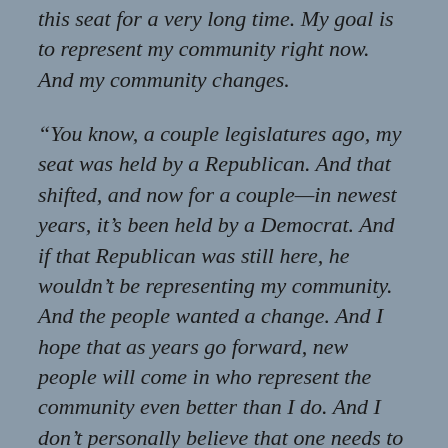this seat for a very long time.  My goal is to represent my community right now.  And my community changes.
“You know, a couple legislatures ago, my seat was held by a Republican.  And that shifted, and now for a couple—in newest years, it’s been held by a Democrat.  And if that Republican was still here, he wouldn’t be representing my community.  And the people wanted a change.  And I hope that as years go forward, new people will come in who represent the community even better than I do.  And I don’t personally believe that one needs to make a career out of this”
Question, upon reflection:  If you’re a Republican in Champion’s District 12, does